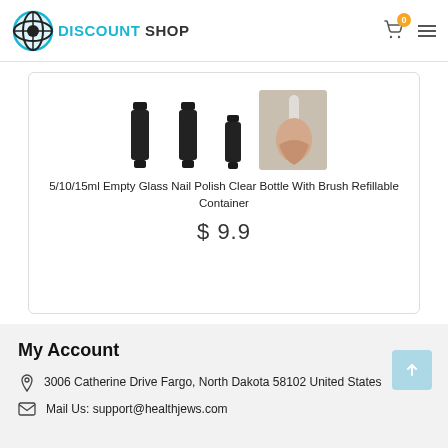DISCOUNT SHOP
[Figure (photo): Product listing card showing 5/10/15ml Empty Glass Nail Polish Clear Bottle With Brush Refillable Container - images of black nail polish bottles and hand applying nail polish]
5/10/15ml Empty Glass Nail Polish Clear Bottle With Brush Refillable Container
$ 9.9
My Account
3006 Catherine Drive Fargo, North Dakota 58102 United States
Mail Us: support@healthjews.com